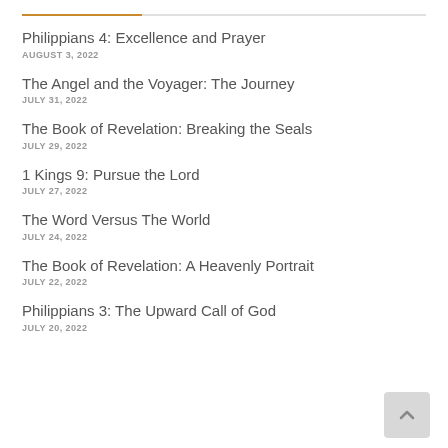Philippians 4: Excellence and Prayer
AUGUST 3, 2022
The Angel and the Voyager: The Journey
JULY 31, 2022
The Book of Revelation: Breaking the Seals
JULY 29, 2022
1 Kings 9: Pursue the Lord
JULY 27, 2022
The Word Versus The World
JULY 24, 2022
The Book of Revelation: A Heavenly Portrait
JULY 22, 2022
Philippians 3: The Upward Call of God
JULY 20, 2022